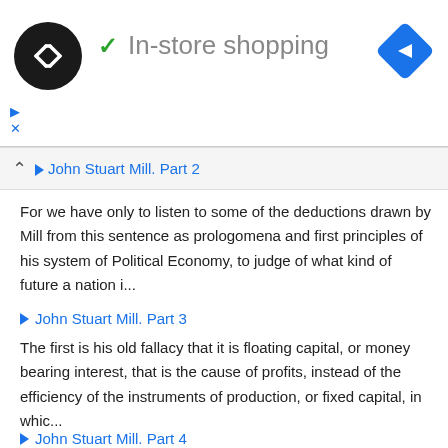[Figure (screenshot): Ad banner showing a black circular logo with arrows icon, a green checkmark, the text 'In-store shopping', and a blue diamond navigation icon on the right. Below are small ad meta links with play and close icons.]
John Stuart Mill. Part 2
For we have only to listen to some of the deductions drawn by Mill from this sentence as prologomena and first principles of his system of Political Economy, to judge of what kind of future a nation i...
John Stuart Mill. Part 3
The first is his old fallacy that it is floating capital, or money bearing interest, that is the cause of profits, instead of the efficiency of the instruments of production, or fixed capital, in whic...
John Stuart Mill. Part 4
For how, for example, can we imagine Population to be increasing and yet Capital and Invention stationary, when the effect of an increased population is to increase the capital drawn from their labour...
John Stuart Mill. Part 5